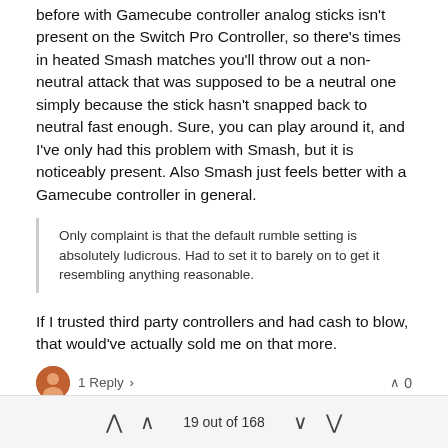before with Gamecube controller analog sticks isn't present on the Switch Pro Controller, so there's times in heated Smash matches you'll throw out a non-neutral attack that was supposed to be a neutral one simply because the stick hasn't snapped back to neutral fast enough. Sure, you can play around it, and I've only had this problem with Smash, but it is noticeably present. Also Smash just feels better with a Gamecube controller in general.
Only complaint is that the default rumble setting is absolutely ludicrous. Had to set it to barely on to get it resembling anything reasonable.
If I trusted third party controllers and had cash to blow, that would've actually sold me on that more.
1 Reply
0
El Shmiablo Banned Feb 19, 2019, 10:20 PM
@mbun *more
Also, the Nacon is officially licensed by Sony. Don't know if that makes
19 out of 168